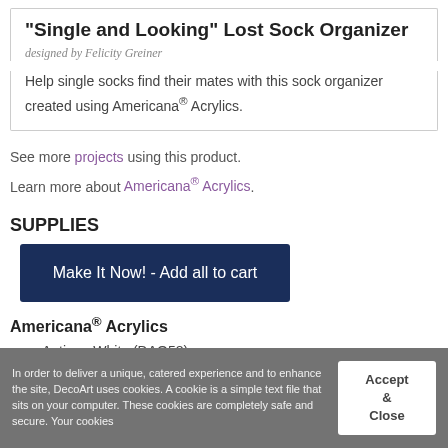"Single and Looking" Lost Sock Organizer
designed by Felicity Greiner
Help single socks find their mates with this sock organizer created using Americana® Acrylics.
See more projects using this product. Learn more about Americana® Acrylics.
SUPPLIES
Make It Now! - Add all to cart
Americana® Acrylics
Antique White (DAO58)
Dark Chocolate (DAO65)
In order to deliver a unique, catered experience and to enhance the site, DecoArt uses cookies. A cookie is a simple text file that sits on your computer. These cookies are completely safe and secure. Your cookies